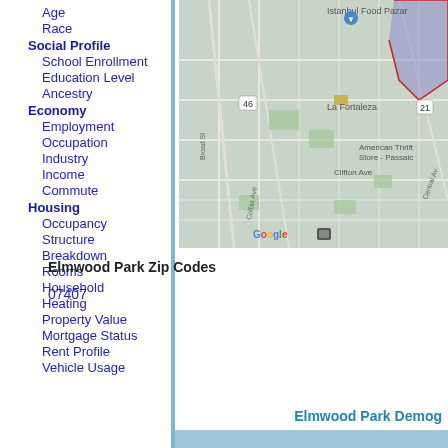Age
Race
Social Profile
School Enrollment
Education Level
Ancestry
Economy
Employment
Occupation
Industry
Income
Commute
Housing
Occupancy
Structure
Breakdown
Rooms
Household
Heating
Property Value
Mortgage Status
Rent Profile
Vehicle Usage
[Figure (map): Google Maps view showing Elmwood Park area with streets including Clifton Ave, Broad St, Colfax Ave, Central Ave, and landmarks like La Fortaleza, Istanbul Food Pazar, American Thrift Store - Passaic. Map shows highlighted region in blue/purple.]
Elmwood Park Zip Codes
07407
Elmwood Park Demog